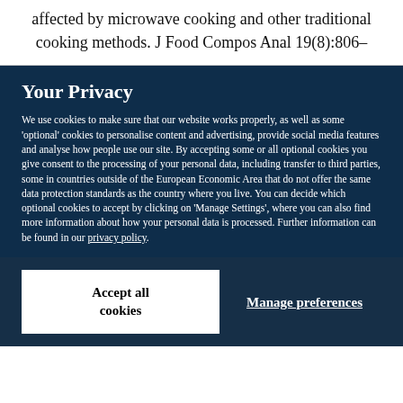affected by microwave cooking and other traditional cooking methods. J Food Compos Anal 19(8):806–
Your Privacy
We use cookies to make sure that our website works properly, as well as some 'optional' cookies to personalise content and advertising, provide social media features and analyse how people use our site. By accepting some or all optional cookies you give consent to the processing of your personal data, including transfer to third parties, some in countries outside of the European Economic Area that do not offer the same data protection standards as the country where you live. You can decide which optional cookies to accept by clicking on 'Manage Settings', where you can also find more information about how your personal data is processed. Further information can be found in our privacy policy.
Accept all cookies
Manage preferences